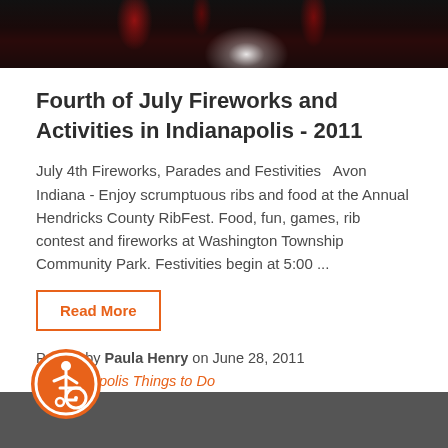[Figure (photo): Fireworks photo at top of page, dark background with red fireworks and bright white center burst]
Fourth of July Fireworks and Activities in Indianapolis - 2011
July 4th Fireworks, Parades and Festivities   Avon Indiana - Enjoy scrumptuous ribs and food at the Annual Hendricks County RibFest. Food, fun, games, rib contest and fireworks at Washington Township Community Park. Festivities begin at 5:00 ...
Read More
Posted by Paula Henry on June 28, 2011 in Indianapolis Things to Do
[Figure (logo): Orange circle accessibility icon with wheelchair user symbol]